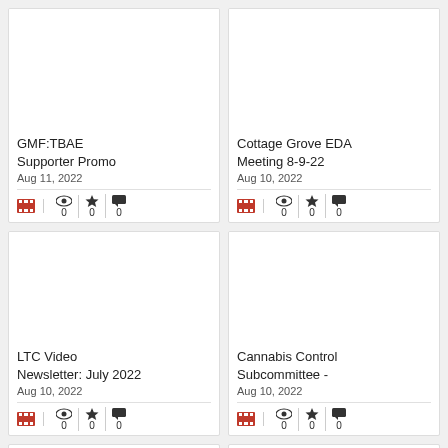[Figure (screenshot): Video thumbnail placeholder for GMF:TBAE Supporter Promo]
GMF:TBAE Supporter Promo
Aug 11, 2022
[Figure (screenshot): Video thumbnail placeholder for Cottage Grove EDA Meeting 8-9-22]
Cottage Grove EDA Meeting 8-9-22
Aug 10, 2022
[Figure (screenshot): Video thumbnail placeholder for LTC Video Newsletter: July 2022]
LTC Video Newsletter: July 2022
Aug 10, 2022
[Figure (screenshot): Video thumbnail placeholder for Cannabis Control Subcommittee -]
Cannabis Control Subcommittee -
Aug 10, 2022